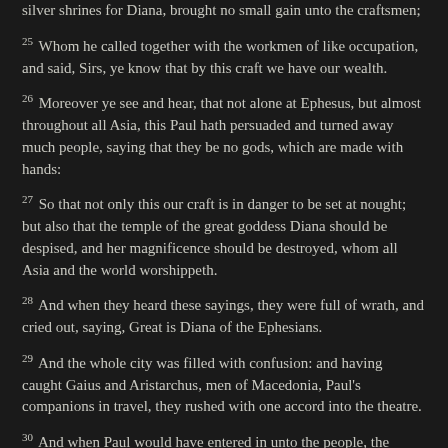silver shrines for Diana, brought no small gain unto the craftsmen;
25 Whom he called together with the workmen of like occupation, and said, Sirs, ye know that by this craft we have our wealth.
26 Moreover ye see and hear, that not alone at Ephesus, but almost throughout all Asia, this Paul hath persuaded and turned away much people, saying that they be no gods, which are made with hands:
27 So that not only this our craft is in danger to be set at nought; but also that the temple of the great goddess Diana should be despised, and her magnificence should be destroyed, whom all Asia and the world worshippeth.
28 And when they heard these sayings, they were full of wrath, and cried out, saying, Great is Diana of the Ephesians.
29 And the whole city was filled with confusion: and having caught Gaius and Aristarchus, men of Macedonia, Paul's companions in travel, they rushed with one accord into the theatre.
30 And when Paul would have entered in unto the people, the disciples suffered him not.